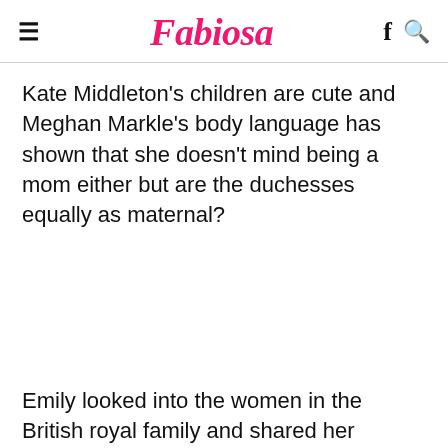≡ Fabiosa f 🔍
Kate Middleton's children are cute and Meghan Markle's body language has shown that she doesn't mind being a mom either but are the duchesses equally as maternal?
Emily looked into the women in the British royal family and shared her findings with Express.